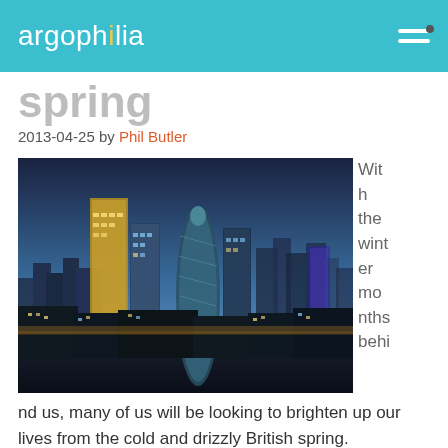argophilia
spring
2013-04-25 by Phil Butler
[Figure (photo): Aerial night/dusk photo of the London city skyline showing iconic skyscrapers including the Gherkin and surrounding financial district buildings illuminated against a blue sky]
With the winter months behind us, many of us will be looking to brighten up our lives from the cold and drizzly British spring. Unsurprisingly, the capital is often the first name on many tourists' lips as they look to soak up the London culture and feast their eyes on some of the world's most iconic sights.